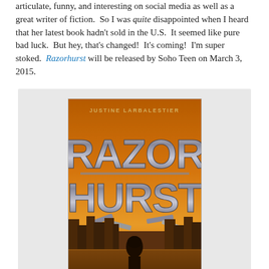articulate, funny, and interesting on social media as well as a great writer of fiction. So I was quite disappointed when I heard that her latest book hadn't sold in the U.S. It seemed like pure bad luck. But hey, that's changed! It's coming! I'm super stoked. Razorhurst will be released by Soho Teen on March 3, 2015.
[Figure (illustration): Book cover of Razorhurst by Justine Larbalestier. Shows dramatic gold/orange toned cityscape background with a silhouetted figure, large stylized metallic letters spelling RAZOR HURST.]
Sydney's deadly Razorhurst neighborhood, 1932. Gloriana Nelson and Mr. Davidson, two ruthless mob bosses, have reached a fragile peace—one maintained by "razor men." Kelpie, orphaned and